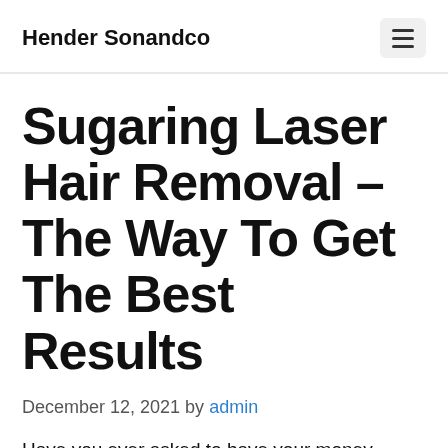Hender Sonandco
Sugaring Laser Hair Removal – The Way To Get The Best Results
December 12, 2021 by admin
Have you ever asked to have your money